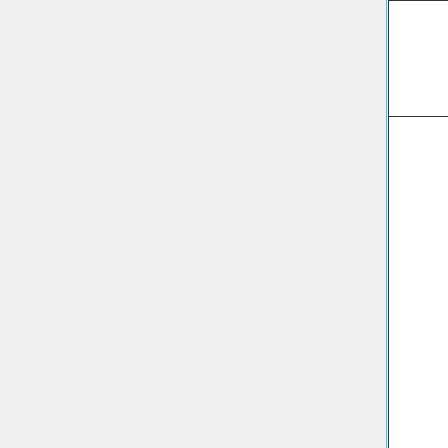|  | TDC[1][14], Det #6 upstream) = |
|  | Al radiator in, DU cyl. target in, Current = 800 mA, LINAC pulse width = 100 ps, Ee = 10.5 MeV, rep. rate = 200Hz, slits are at 351. Back to LED threshold = 10 mV (all), LED pulse width = 40 ns (all). LED is in updating mode. Pair spectrometer Det @ 15 mV |